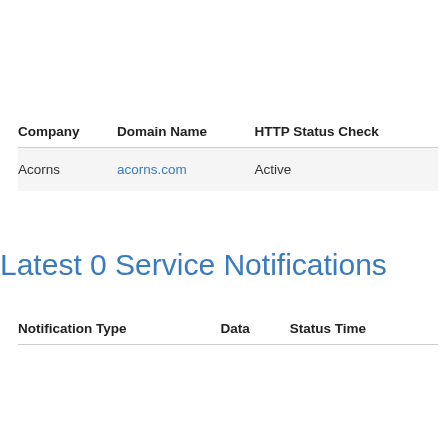| Company | Domain Name | HTTP Status Check |
| --- | --- | --- |
| Acorns | acorns.com | Active |
Latest 0 Service Notifications
| Notification Type | Data | Status Time |
| --- | --- | --- |